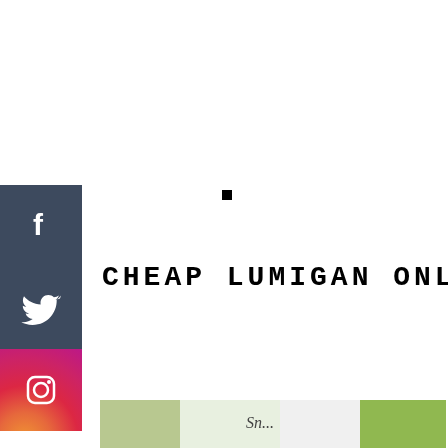[Figure (illustration): Social media sidebar with Facebook, Twitter, and Instagram icon buttons on the left side]
CHEAP LUMIGAN ONLINE
[Figure (photo): Partial photo at the bottom showing what appears to be plants or herbal items with a label, blurred background]